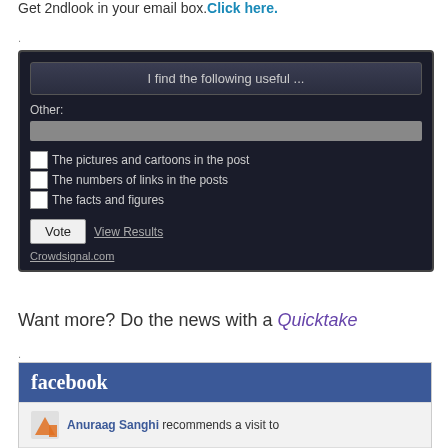Get 2ndlook in your email box. Click here.
.
[Figure (screenshot): Poll widget with dark background. Title: 'I find the following useful ...'. Other text field. Checkboxes for 'The pictures and cartoons in the post', 'The numbers of links in the posts', 'The facts and figures'. Vote button and View Results link. Crowdsignal.com attribution.]
Want more? Do the news with a Quicktake
.
[Figure (screenshot): Facebook widget showing blue Facebook header and Anuraag Sanghi recommends a visit to, with profile avatar placeholder.]